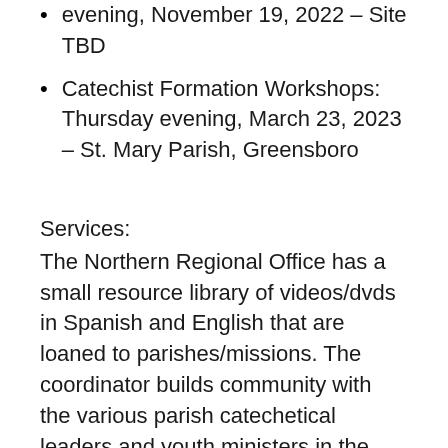evening, November 19, 2022 – Site TBD
Catechist Formation Workshops: Thursday evening, March 23, 2023 – St. Mary Parish, Greensboro
Services:
The Northern Regional Office has a small resource library of videos/dvds in Spanish and English that are loaned to parishes/missions. The coordinator builds community with the various parish catechetical leaders and youth ministers in the region by holding meetings; strengthening catechetical endeavors by organizing ongoing catechetical training in the region; assessing catechetical needs and educational materials. She advises parishes regarding diocesan catechetical and sacramental policies. She facilitates adult faith formation programmatically, and doctrinally.